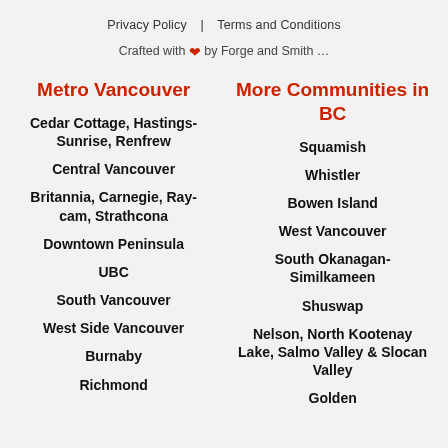Privacy Policy   Terms and Conditions
Crafted with ♥ by Forge and Smith …
Metro Vancouver
More Communities in BC
Cedar Cottage, Hastings-Sunrise, Renfrew
Squamish
Central Vancouver
Whistler
Britannia, Carnegie, Ray-cam, Strathcona
Bowen Island
Downtown Peninsula
West Vancouver
UBC
South Okanagan-Similkameen
South Vancouver
Shuswap
West Side Vancouver
Nelson, North Kootenay Lake, Salmo Valley & Slocan Valley
Burnaby
Golden
Richmond